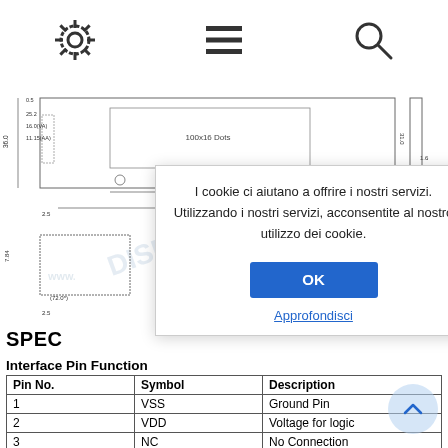[Figure (screenshot): Top navigation bar with gear/settings icon, hamburger menu icon, and search icon]
[Figure (engineering-diagram): LCD module mechanical drawing showing top and side views with dimensions: 36.0, 0.5, 25.2, 16.0(VA), 11.15(AA), 31.0, 45.0, 80.0, 2.5, 1.6, 7.84, 72.0(*), 2.5, 4-φ2.5 PTH. Label '100x16 Dots' in the display area.]
I cookie ci aiutano a offrire i nostri servizi. Utilizzando i nostri servizi, acconsentite al nostro utilizzo dei cookie.
OK
Approfondisci
SPEC
Interface Pin Function
| Pin No. | Symbol | Description |
| --- | --- | --- |
| 1 | VSS | Ground Pin |
| 2 | VDD | Voltage for logic |
| 3 | NC | No Connection |
| 4 | RS | Register Select |